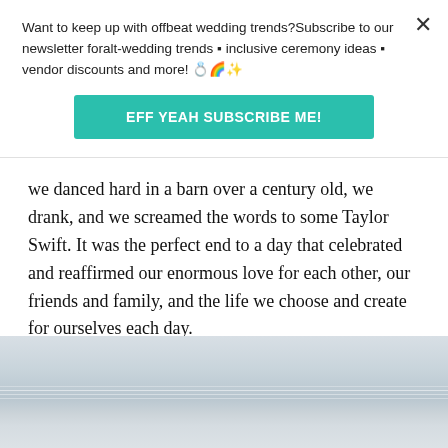Want to keep up with offbeat wedding trends?Subscribe to our newsletter for⁠alt-wedding trends • inclusive ceremony ideas • vendor discounts and more! 💍🌈✨
EFF YEAH SUBSCRIBE ME!
we danced hard in a barn over a century old, we drank, and we screamed the words to some Taylor Swift. It was the perfect end to a day that celebrated and reaffirmed our enormous love for each other, our friends and family, and the life we choose and create for ourselves each day.
[Figure (photo): Outdoor photograph showing a pale grey sky with thin horizontal lines (possibly power lines) and a light-coloured ground or water surface below, giving a serene, minimalist landscape impression.]